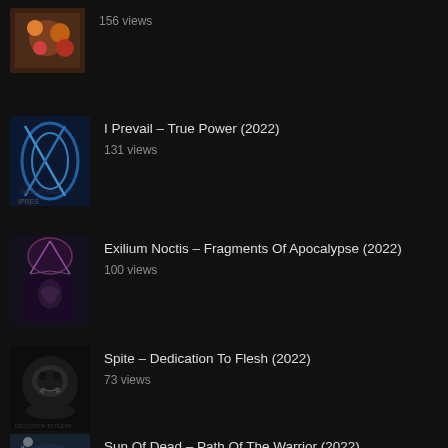156 views
I Prevail – True Power (2022)
131 views
Exilium Noctis – Fragments Of Apocalypse (2022)
100 views
Spite – Dedication To Flesh (2022)
73 views
Sun Of Dead – Path Of The Warrior (2022)
70 views